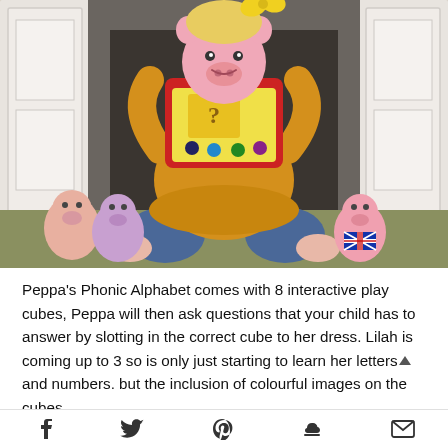[Figure (photo): A young blonde girl in a yellow top with a yellow bow in her hair, holding up a Peppa Pig toy/device in front of her face while sitting on the floor. She is surrounded by several Peppa Pig plush toys. The background shows white ornate wall panels and a dark fireplace.]
Peppa's Phonic Alphabet comes with 8 interactive play cubes, Peppa will then ask questions that your child has to answer by slotting in the correct cube to her dress. Lilah is coming up to 3 so is only just starting to learn her letters and numbers. but the inclusion of colourful images on the cubes